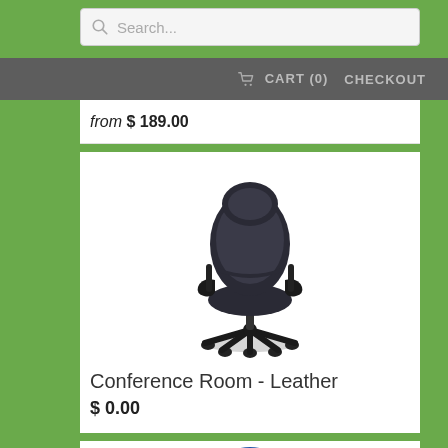Search...  CART (0)  CHECKOUT
from $ 189.00
[Figure (photo): Black leather conference room office chair with armrests on a five-star wheeled base, photographed on white background]
Conference Room - Leather
$ 0.00
[Figure (photo): Partial view of a blue leather office chair, top portion visible at bottom of page]